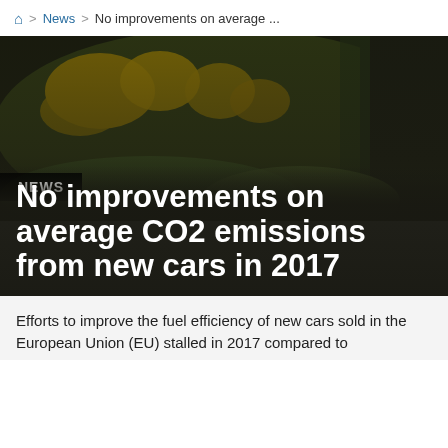🏠 > News > No improvements on average ...
[Figure (photo): Blurred photo of yellow flowers seen through a car window, with dark overlay. 'NEWS' tag overlaid in bottom-left corner.]
No improvements on average CO2 emissions from new cars in 2017
Efforts to improve the fuel efficiency of new cars sold in the European Union (EU) stalled in 2017 compared to